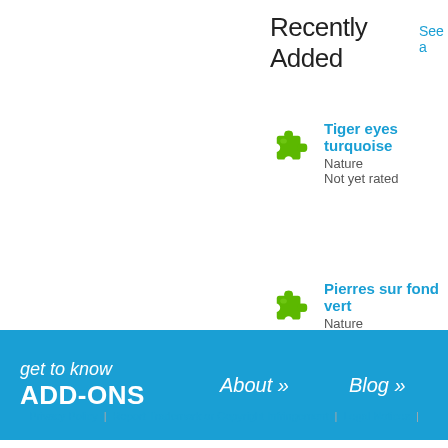Recently Added  See a
Tiger eyes turquoise — Nature — Not yet rated
Pierres sur fond vert — Nature — Not yet rated
[Figure (infographic): Blue footer banner with 'get to know ADD-ONS', About », Blog »]
Privacy Policy  |  Report Trademark or Copyright Infringement  |  Legal Notices  |